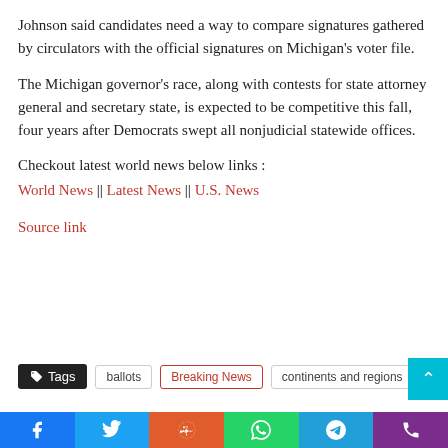Johnson said candidates need a way to compare signatures gathered by circulators with the official signatures on Michigan’s voter file.
The Michigan governor’s race, along with contests for state attorney general and secretary state, is expected to be competitive this fall, four years after Democrats swept all nonjudicial statewide offices.
Checkout latest world news below links :
World News || Latest News || U.S. News
Source link
Tags  ballots  Breaking News  continents and regions
Facebook Twitter Reddit WhatsApp Telegram Phone